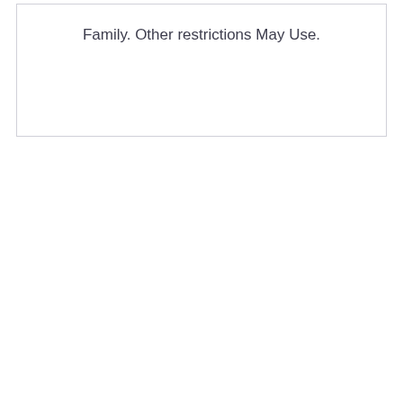Family. Other restrictions May Use.